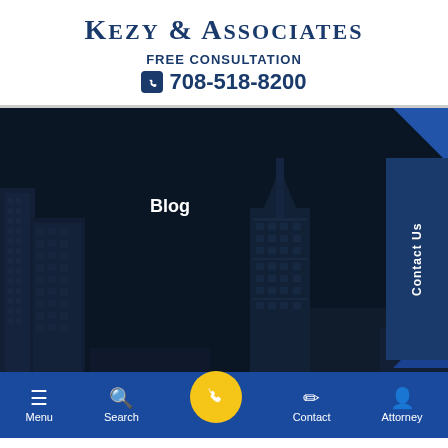KEZY & ASSOCIATES
FREE CONSULTATION
708-518-8200
[Figure (screenshot): Dark hero banner with city skyline (buildings visible on left and center-right), overlaid with semi-transparent dark blue tint. Contains 'Blog' label in white bold text on left side, and a 'Contact Us' vertical tab on the right edge in dark blue.]
Blog
Contesting a